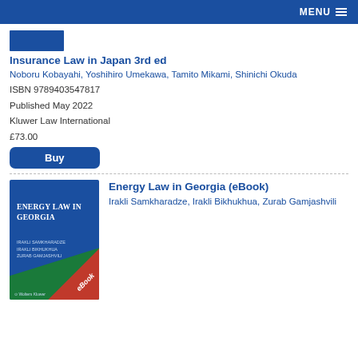MENU
[Figure (other): Thumbnail of a book cover in blue]
Insurance Law in Japan 3rd ed
Noboru Kobayahi, Yoshihiro Umekawa, Tamito Mikami, Shinichi Okuda
ISBN 9789403547817
Published May 2022
Kluwer Law International
£73.00
Buy
[Figure (illustration): Cover of Energy Law in Georgia eBook — blue and green cover with red eBook ribbon]
Energy Law in Georgia (eBook)
Irakli Samkharadze, Irakli Bikhukhua, Zurab Gamjashvili